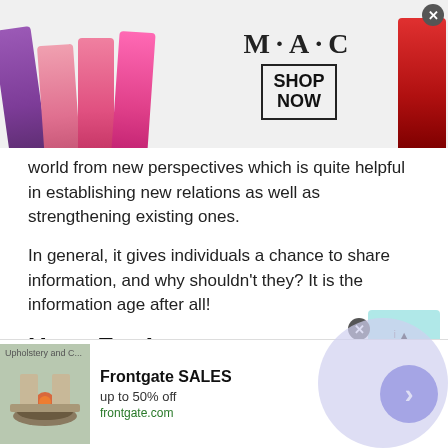[Figure (photo): MAC cosmetics advertisement banner with colorful lipsticks on the left, MAC logo text in center, SHOP NOW box on right, and a red lipstick on far right. Close button in top right corner.]
world from new perspectives which is quite helpful in establishing new relations as well as strengthening existing ones.
In general, it gives individuals a chance to share information, and why shouldn't they? It is the information age after all!
Have Fun!
Want a platform for Liberian Omegle Chat ? There is no better choice than Talkwithstranger. Here you can get in
[Figure (screenshot): Frontgate SALES advertisement: up to 50% off, frontgate.com, with a photo of outdoor furniture/fire pit on left and a blue circular next button on right.]